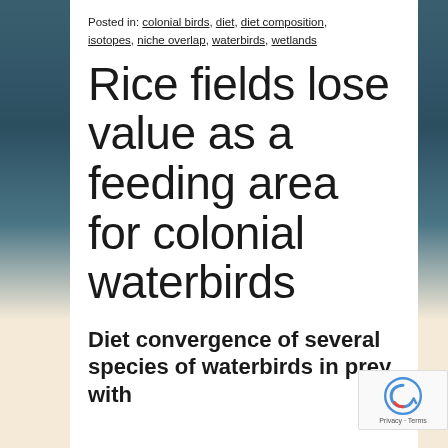Posted in: colonial birds, diet, diet composition, isotopes, niche overlap, waterbirds, wetlands
Rice fields lose value as a feeding area for colonial waterbirds
Diet convergence of several species of waterbirds in prey with